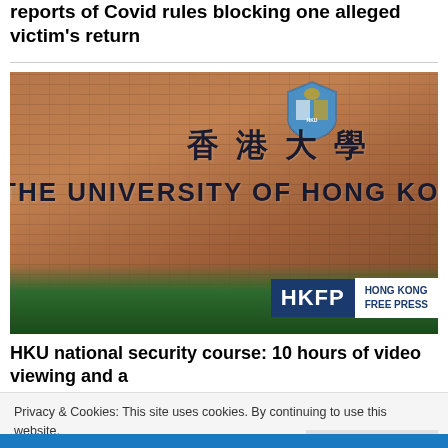reports of Covid rules blocking one alleged victim's return
[Figure (photo): Exterior of The University of Hong Kong building showing brick facade with English and Chinese signage, greenery at bottom, and HKFP Hong Kong Free Press watermark logo in bottom right corner.]
HKU national security course: 10 hours of video viewing and a multiple-choice test to pass, and to graduate
Privacy & Cookies: This site uses cookies. By continuing to use this website, you agree to their use.
To find out more, including how to control cookies, see here: Cookie Policy
Close and accept